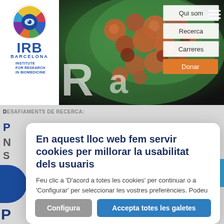[Figure (screenshot): IRB Barcelona website header with microscopy image of cells, navigation buttons (Qui som, Recerca, Carreres, Donar), hamburger menu, and IRB Barcelona logo]
DESAFIAMENTS DE RECERCA
En aquest lloc web fem servir cookies per millorar la usabilitat dels usuaris
Feu clic a 'D'acord a totes les cookies' per continuar o a 'Configurar' per seleccionar les vostres preferències. Podeu llegir més informació a la nostra Més informació
Configura
Accepta totes les galetes